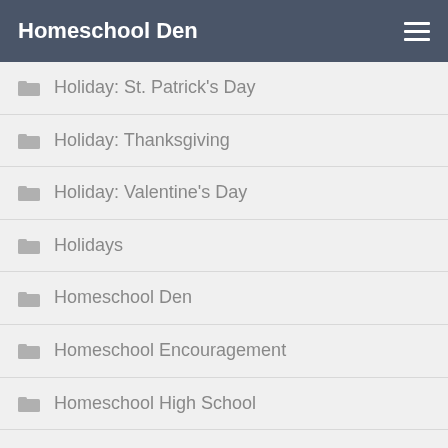Homeschool Den
Holiday: St. Patrick's Day
Holiday: Thanksgiving
Holiday: Valentine's Day
Holidays
Homeschool Den
Homeschool Encouragement
Homeschool High School
Homeschool Mastermind Group
Homeschool: Interviews with other Homeschoolers